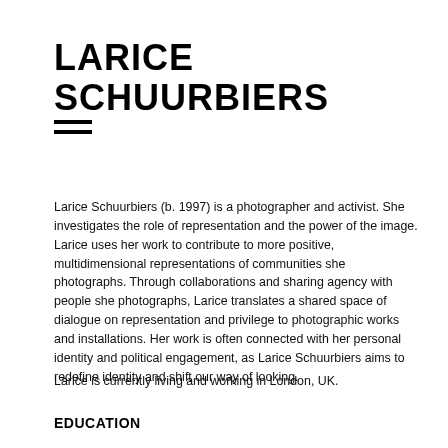LARICE SCHUURBIERS
[Figure (other): Hamburger menu icon — three horizontal black bars stacked vertically]
Larice Schuurbiers (b. 1997) is a photographer and activist. She investigates the role of representation and the power of the image. Larice uses her work to contribute to more positive, multidimensional representations of communities she photographs. Through collaborations and sharing agency with people she photographs, Larice translates a shared space of dialogue on representation and privilege to photographic works and installations. Her work is often connected with her personal identity and political engagement, as Larice Schuurbiers aims to redefine identity and shift our way of looking.
Larice is currently living and working in London, UK.
EDUCATION